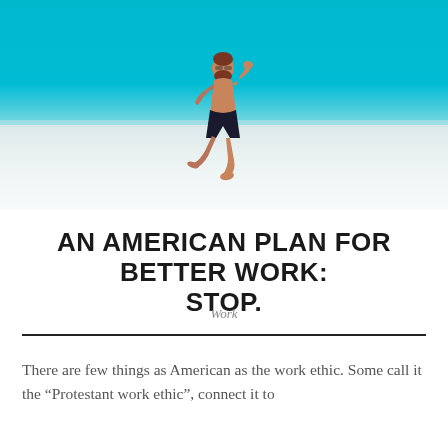[Figure (photo): A shirtless man with a beard, wearing black shorts, jumping energetically on a flat white sandy beach with shallow turquoise water and a bright blue sky in the background.]
AN AMERICAN PLAN FOR BETTER WORK: STOP.
Work
There are few things as American as the work ethic. Some call it the “Protestant work ethic”, connect it to